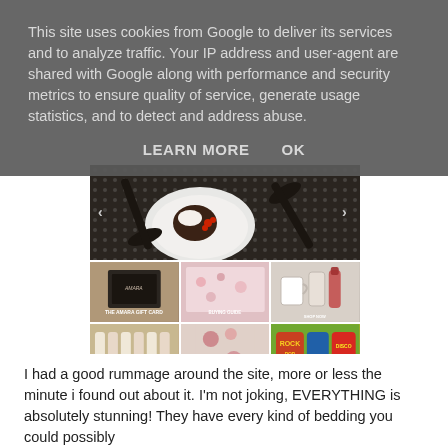This site uses cookies from Google to deliver its services and to analyze traffic. Your IP address and user-agent are shared with Google along with performance and security metrics to ensure quality of service, generate usage statistics, and to detect and address abuse.
LEARN MORE    OK
[Figure (photo): A food/recipe blog website screenshot showing a large hero image of a dessert dish (dark cake with cream and berries on a plate with dark spoons on a patterned tablecloth), and a grid of 6 thumbnail images below including: Amara gift card, bedding guide, mugs/kitchenware, toiletries set, floral fabric, and retro cushions.]
I had a good rummage around the site, more or less the minute i found out about it. I'm not joking, EVERYTHING is absolutely stunning! They have every kind of bedding you could possibly